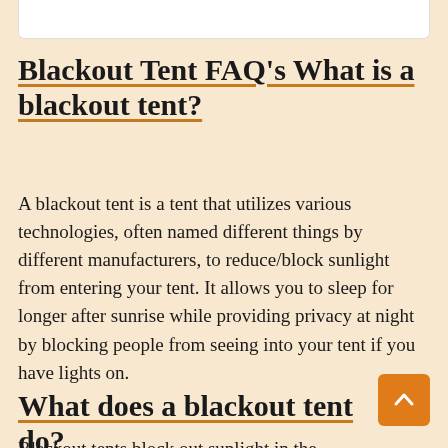Blackout Tent FAQ's What is a blackout tent?
A blackout tent is a tent that utilizes various technologies, often named different things by different manufacturers, to reduce/block sunlight from entering your tent. It allows you to sleep for longer after sunrise while providing privacy at night by blocking people from seeing into your tent if you have lights on.
What does a blackout tent do?
Blackout tents block out sunlight in the